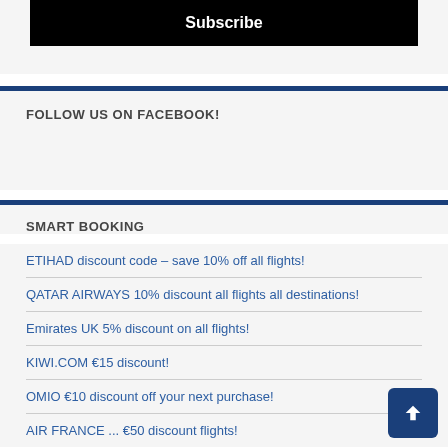Subscribe
FOLLOW US ON FACEBOOK!
SMART BOOKING
ETIHAD discount code – save 10% off all flights!
QATAR AIRWAYS 10% discount all flights all destinations!
Emirates UK 5% discount on all flights!
KIWI.COM €15 discount!
OMIO €10 discount off your next purchase!
AIR FRANCE ... €50 discount flights!